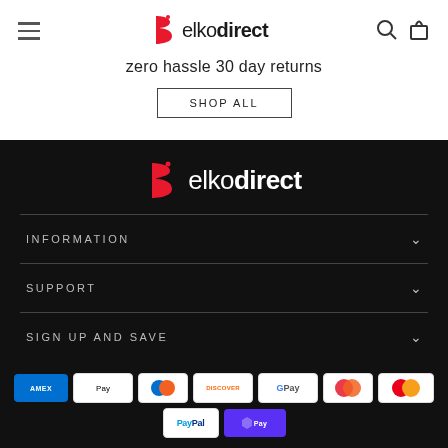elkodirect — navigation header with hamburger menu, logo, search and cart icons
zero hassle 30 day returns
SHOP ALL
[Figure (logo): elkodirect logo in white on black footer background]
INFORMATION
SUPPORT
SIGN UP AND SAVE
[Figure (other): Payment method badges: Amex, Apple Pay, Diners, Discover, Google Pay, Maestro, Mastercard, PayPal, Shop Pay]